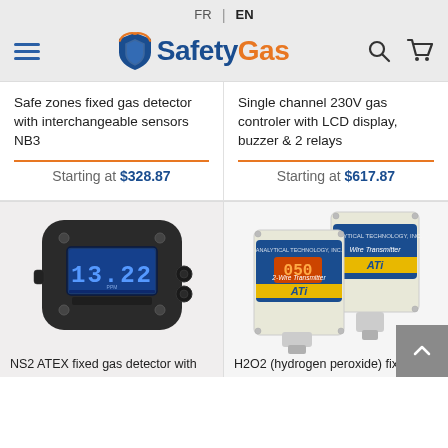FR | EN — SafetyGas navigation header
Safe zones fixed gas detector with interchangeable sensors NB3
Single channel 230V gas controler with LCD display, buzzer & 2 relays
Starting at $328.87
Starting at $617.87
[Figure (photo): NS2 ATEX fixed gas detector device with LCD display showing 13.22]
[Figure (photo): Two ATI 2-Wire Transmitter / Wire Transmitter gas detector units for H2O2]
NS2 ATEX fixed gas detector with
H2O2 (hydrogen peroxide) fixed